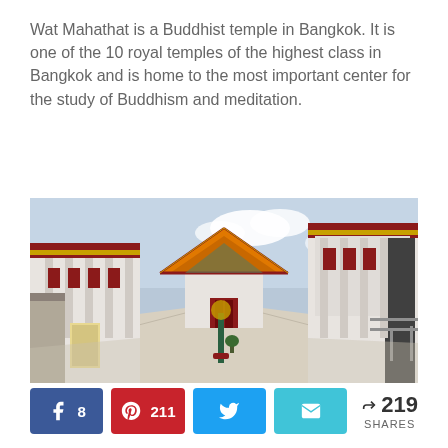Wat Mahathat is a Buddhist temple in Bangkok. It is one of the 10 royal temples of the highest class in Bangkok and is home to the most important center for the study of Buddhism and meditation.
[Figure (photo): Photograph of Wat Mahathat Buddhist temple in Bangkok showing a wide courtyard flanked by white ornate buildings with red accents and a central building with an orange/gold tiered roof and pointed gable.]